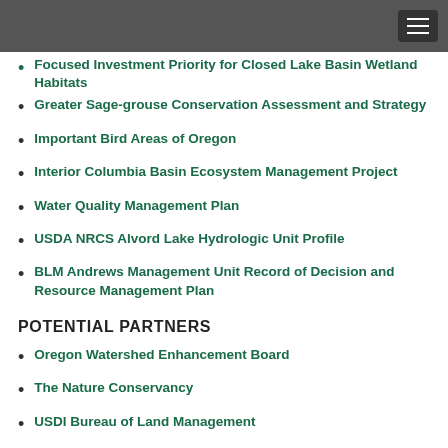Focused Investment Priority for Closed Lake Basin Wetland Habitats
Greater Sage-grouse Conservation Assessment and Strategy
Important Bird Areas of Oregon
Interior Columbia Basin Ecosystem Management Project
Water Quality Management Plan
USDA NRCS Alvord Lake Hydrologic Unit Profile
BLM Andrews Management Unit Record of Decision and Resource Management Plan
POTENTIAL PARTNERS
Oregon Watershed Enhancement Board
The Nature Conservancy
USDI Bureau of Land Management
Audobon Society of Portland